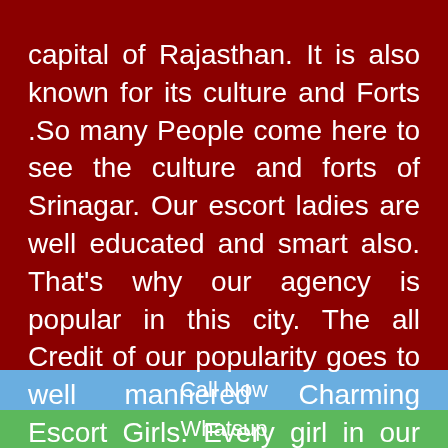capital of Rajasthan. It is also known for its culture and Forts .So many People come here to see the culture and forts of Srinagar. Our escort ladies are well educated and smart also. That's why our agency is popular in this city. The all Credit of our popularity goes to well mannered Charming Escort Girls. Every girl in our agency knows how to satisfy our clients. Now our ladies made our companion a brand in this city. Our companion girls always excited to meet new people and what they deserve. Some special Features also have the companion women that list show here below side.
Call Now
Whatsup